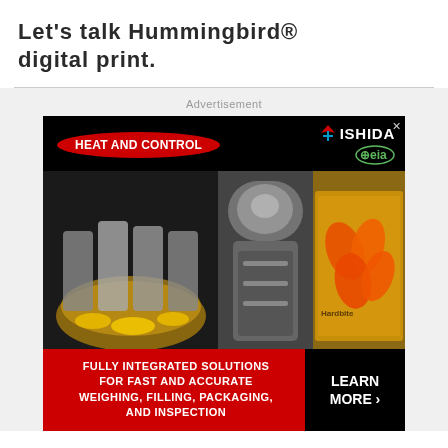Let's talk Hummingbird® digital print.
Advertisement
[Figure (photo): Advertisement banner for Heat and Control, Ishida, and CEIA. Shows food processing and packaging machinery. Bottom bar reads: FULLY INTEGRATED SOLUTIONS FOR FAST AND ACCURATE WEIGHING, FILLING, PACKAGING, AND INSPECTION. LEARN MORE.]